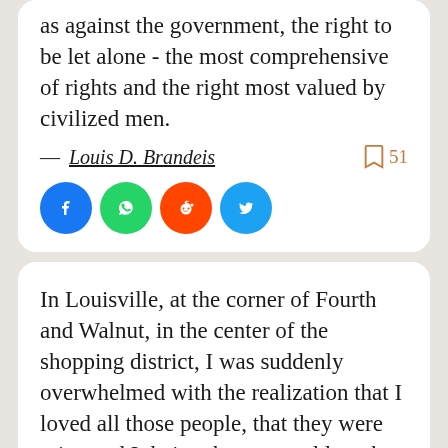as against the government, the right to be let alone - the most comprehensive of rights and the right most valued by civilized men.
— Louis D. Brandeis  51
[Figure (infographic): Social share buttons: Facebook (blue circle), WhatsApp (green circle), Reddit (orange circle), Twitter (blue circle)]
In Louisville, at the corner of Fourth and Walnut, in the center of the shopping district, I was suddenly overwhelmed with the realization that I loved all those people, that they were mine and I theirs, that we could not be alien to one another even though we were total strangers.
— Thomas Merton